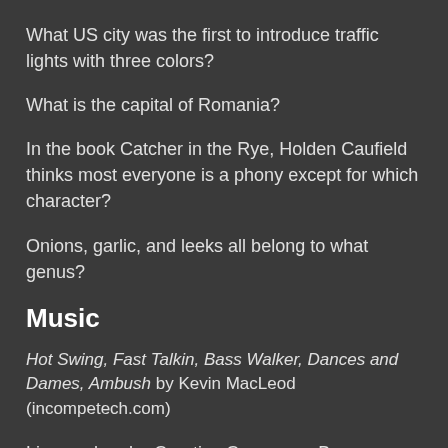What US city was the first to introduce traffic lights with three colors?
What is the capital of Romania?
In the book Catcher in the Rye, Holden Caufield thinks most everyone is a phony except for which character?
Onions, garlic, and leeks all belong to what genus?
Music
Hot Swing, Fast Talkin, Bass Walker, Dances and Dames, Ambush by Kevin MacLeod (incompetech.com)
Licensed under Creative Commons: By Attribution